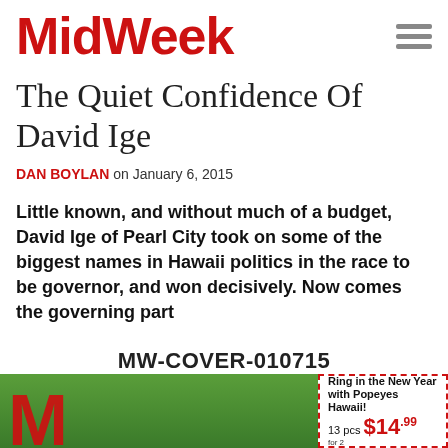MidWeek
The Quiet Confidence Of David Ige
DAN BOYLAN on January 6, 2015
Little known, and without much of a budget, David Ige of Pearl City took on some of the biggest names in Hawaii politics in the race to be governor, and won decisively. Now comes the governing part
MW-COVER-010715
[Figure (photo): Bottom strip showing MidWeek magazine cover with red M logo on green tropical background, and a Popeyes Hawaii advertisement on the right]